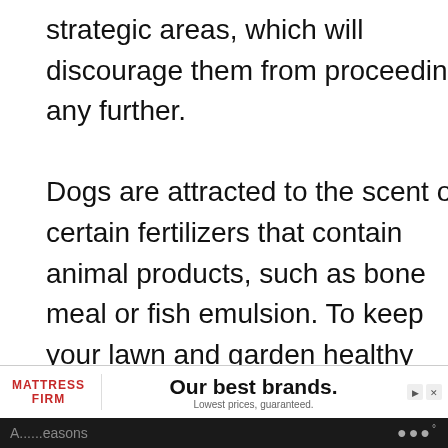strategic areas, which will discourage them from proceeding any further.

Dogs are attracted to the scent of certain fertilizers that contain animal products, such as bone meal or fish emulsion. To keep your lawn and garden healthy without further attracting a neighboring dog, try to use plant-based fertilizers.
3 – Eliminate Objects of Curiosity
[Figure (other): Advertisement banner for Mattress Firm with text 'Our best brands. Lowest prices, guaranteed.' and UI icons including a heart/like button with count 45, share button, and What's Next widget showing 'How to Get Nightcrawler...']